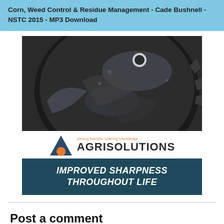Corn, Weed Control & Residue Management - Cade Bushnell - NSTC 2015 - MP3 Download
[Figure (photo): Close-up photo of a dark metallic serrated agricultural disk blade with ridges and holes, shown against a dark background. Below the disk image is the Agrisolutions logo with a triangle/orange circle icon and the tagline 'joining brands, sharing knowledge', followed by a dark teal banner reading 'IMPROVED SHARPNESS THROUGHOUT LIFE' in white italic bold text.]
Post a comment
Name*